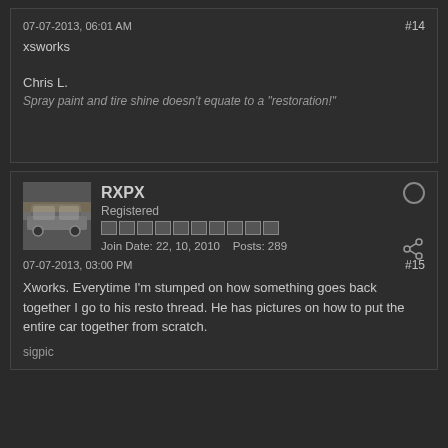07-07-2013, 06:01 AM
#14
xsworks
Chris L.
Spray paint and tire shine doesn't equate to a "restoration!"
RXPX
Registered
Join Date: 22, 10, 2010    Posts: 289
07-07-2013, 03:00 PM
#15
Xworks. Everytime I'm stumped on how something goes back together I go to his resto thread. He has pictures on how to put the entire car together from scratch.
sigpic